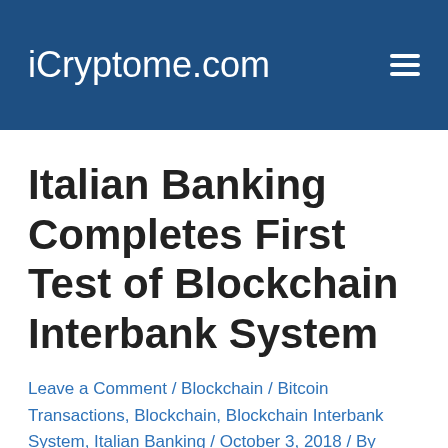iCryptome.com
Italian Banking Completes First Test of Blockchain Interbank System
Leave a Comment / Blockchain / Bitcoin Transactions, Blockchain, Blockchain Interbank System, Italian Banking / October 3, 2018 / By Rohman Dani / 2 minutes of reading